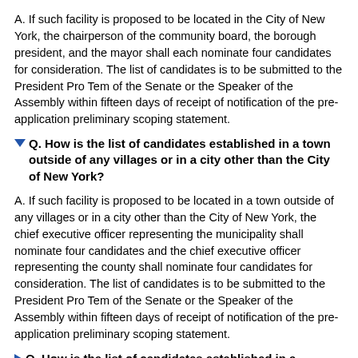A. If such facility is proposed to be located in the City of New York, the chairperson of the community board, the borough president, and the mayor shall each nominate four candidates for consideration. The list of candidates is to be submitted to the President Pro Tem of the Senate or the Speaker of the Assembly within fifteen days of receipt of notification of the pre-application preliminary scoping statement.
Q. How is the list of candidates established in a town outside of any villages or in a city other than the City of New York?
A. If such facility is proposed to be located in a town outside of any villages or in a city other than the City of New York, the chief executive officer representing the municipality shall nominate four candidates and the chief executive officer representing the county shall nominate four candidates for consideration. The list of candidates is to be submitted to the President Pro Tem of the Senate or the Speaker of the Assembly within fifteen days of receipt of notification of the pre-application preliminary scoping statement.
Q. How is the list of candidates established in a village?
Q. How is the list of candidates established if the facility is to be built on parcels of land located in more than one